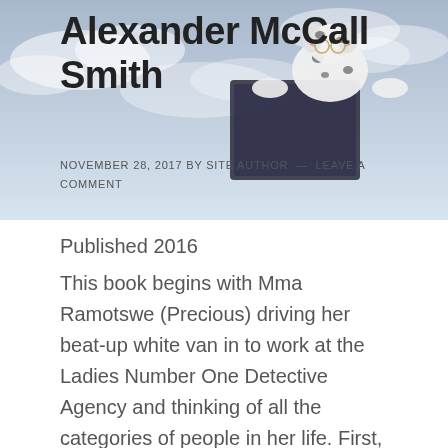[Figure (illustration): Blog post hero image with a Dalmatian dog wearing glasses and reading a book, set against a cloudy sky background]
Alexander McCall Smith
NOVEMBER 28, 2017 by SITE AUTHOR — LEAVE A COMMENT
Published 2016
This book begins with Mma Ramotswe (Precious) driving her beat-up white van in to work at the Ladies Number One Detective Agency and thinking of all the categories of people in her life. First, she divides the group into those who are still present, and those who are late. Among the latter is her dear departed father,